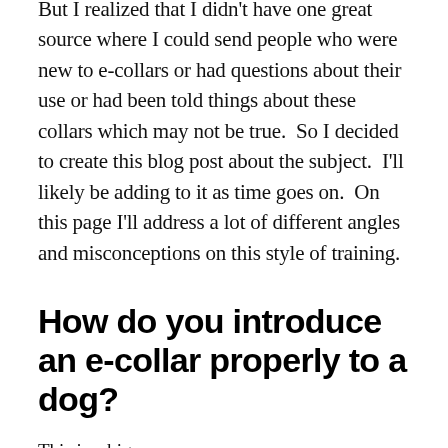But I realized that I didn't have one great source where I could send people who were new to e-collars or had questions about their use or had been told things about these collars which may not be true.  So I decided to create this blog post about the subject.  I'll likely be adding to it as time goes on.  On this page I'll address a lot of different angles and misconceptions on this style of training.
How do you introduce an e-collar properly to a dog?
This is a big one.
I've found that a lot of people go about introducing an e-collar to a dog in a faulty way.